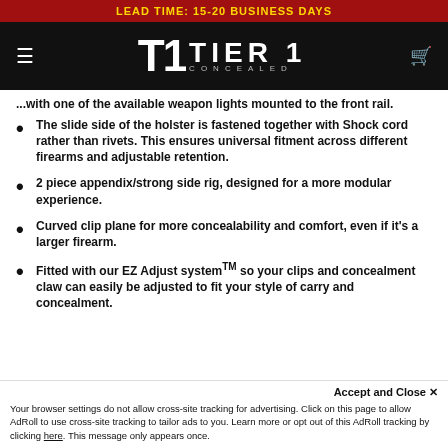LEAD TIME: 15-20 BUSINESS DAYS
[Figure (logo): Tier 1 Concealed logo on black header with hamburger menu and cart icon]
...with one of the available weapon lights mounted to the front rail.
The slide side of the holster is fastened together with Shock cord rather than rivets. This ensures universal fitment across different firearms and adjustable retention.
2 piece appendix/strong side rig, designed for a more modular experience.
Curved clip plane for more concealability and comfort, even if it's a larger firearm.
Fitted with our EZ Adjust system™ so your clips and concealment claw can easily be adjusted to fit your style of carry and concealment.
Accept and Close ✕
Your browser settings do not allow cross-site tracking for advertising. Click on this page to allow AdRoll to use cross-site tracking to tailor ads to you. Learn more or opt out of this AdRoll tracking by clicking here. This message only appears once.